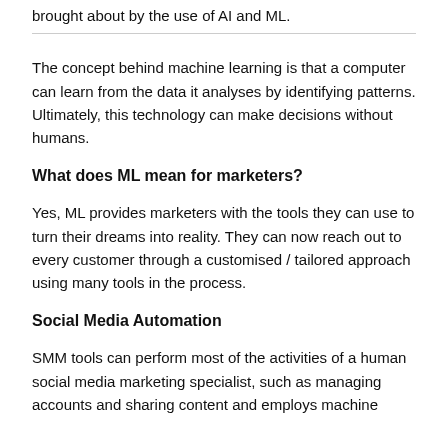brought about by the use of AI and ML.
The concept behind machine learning is that a computer can learn from the data it analyses by identifying patterns. Ultimately, this technology can make decisions without humans.
What does ML mean for marketers?
Yes, ML provides marketers with the tools they can use to turn their dreams into reality. They can now reach out to every customer through a customised / tailored approach using many tools in the process.
Social Media Automation
SMM tools can perform most of the activities of a human social media marketing specialist, such as managing accounts and sharing content and employs machine